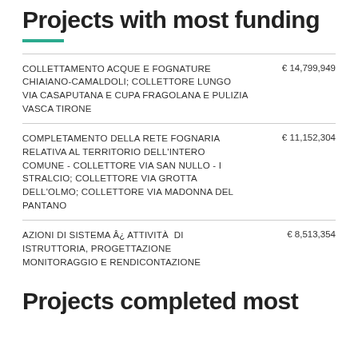Projects with most funding
COLLETTAMENTO ACQUE E FOGNATURE CHIAIANO-CAMALDOLI; COLLETTORE LUNGO VIA CASAPUTANA E CUPA FRAGOLANA E PULIZIA VASCA TIRONE € 14,799,949
COMPLETAMENTO DELLA RETE FOGNARIA RELATIVA AL TERRITORIO DELL'INTERO COMUNE - COLLETTORE VIA SAN NULLO - I STRALCIO; COLLETTORE VIA GROTTA DELL'OLMO; COLLETTORE VIA MADONNA DEL PANTANO € 11,152,304
AZIONI DI SISTEMA Â¿ ATTIVITÀ  DI ISTRUTTORIA, PROGETTAZIONE MONITORAGGIO E RENDICONTAZIONE € 8,513,354
Projects completed most